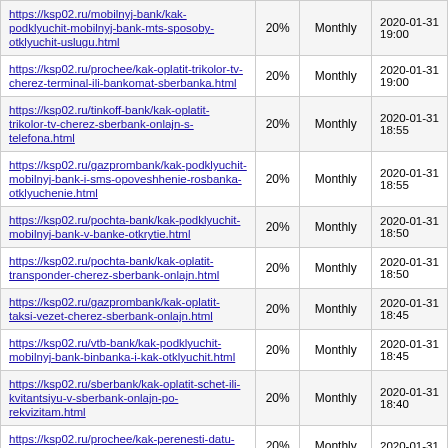| URL | % | Frequency | Date |
| --- | --- | --- | --- |
| https://ksp02.ru/mobilnyj-bank/kak-podklyuchit-mobilnyj-bank-mts-sposoby-otklyuchit-uslugu.html | 20% | Monthly | 2020-01-31 19:00 |
| https://ksp02.ru/prochee/kak-oplatit-trikolor-tv-cherez-terminal-ili-bankomat-sberbanka.html | 20% | Monthly | 2020-01-31 19:00 |
| https://ksp02.ru/tinkoff-bank/kak-oplatit-trikolor-tv-cherez-sberbank-onlajn-s-telefona.html | 20% | Monthly | 2020-01-31 18:55 |
| https://ksp02.ru/gazprombank/kak-podklyuchit-mobilnyj-bank-i-sms-opoveshhenie-rosbanka-otklyuchenie.html | 20% | Monthly | 2020-01-31 18:55 |
| https://ksp02.ru/pochta-bank/kak-podklyuchit-mobilnyj-bank-v-banke-otkrytie.html | 20% | Monthly | 2020-01-31 18:50 |
| https://ksp02.ru/pochta-bank/kak-oplatit-transponder-cherez-sberbank-onlajn.html | 20% | Monthly | 2020-01-31 18:50 |
| https://ksp02.ru/gazprombank/kak-oplatit-taksi-vezet-cherez-sberbank-onlajn.html | 20% | Monthly | 2020-01-31 18:45 |
| https://ksp02.ru/vtb-bank/kak-podklyuchit-mobilnyj-bank-binbanka-i-kak-otklyuchit.html | 20% | Monthly | 2020-01-31 18:45 |
| https://ksp02.ru/sberbank/kak-oplatit-schet-ili-kvitantsiyu-v-sberbank-onlajn-po-rekvizitam.html | 20% | Monthly | 2020-01-31 18:40 |
| https://ksp02.ru/prochee/kak-perenesti-datu-platezha-po-kreditu-v-pochta-... | 20% | Monthly | 2020-01-31 ... |